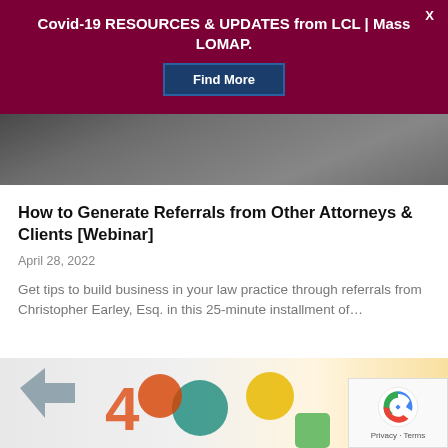Covid-19 RESOURCES & UPDATES from LCL | Mass LOMAP.
[Figure (photo): Dark blurred photo of a person in a suit, upper body, against a gray background — top portion of article image]
How to Generate Referrals from Other Attorneys & Clients [Webinar]
April 28, 2022
Get tips to build business in your law practice through referrals from Christopher Earley, Esq. in this 25-minute installment of…
[Figure (photo): Colorful toy letter/number shapes on a white background — bottom portion, partially visible]